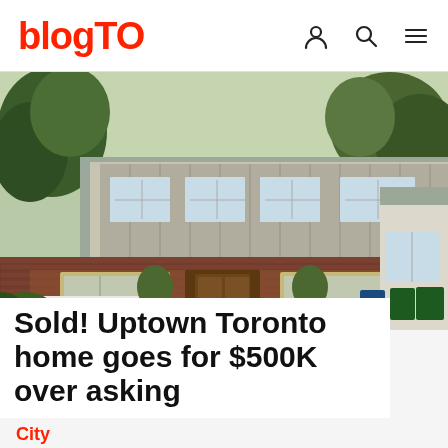blogTO
[Figure (photo): Exterior photo of an uptown Toronto two-storey home with brick facade, wood porch, covered front veranda, green trees, and paved driveway. Adjacent houses visible on both sides.]
Sold! Uptown Toronto home goes for $500K over asking
City